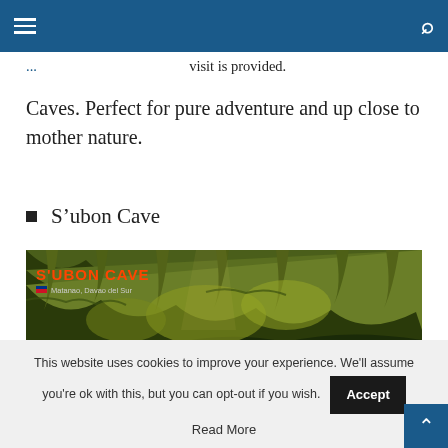Navigation bar with hamburger menu and search icon
visit is provided.
Caves. Perfect for pure adventure and up close to mother nature.
S’ubon Cave
[Figure (photo): Interior of S'ubon Cave showing green and yellow rock formations with a person in the cave. Text overlay reads S'UBON CAVE and Matanao, Davao del Sur with Philippine flag icon.]
This website uses cookies to improve your experience. We'll assume you're ok with this, but you can opt-out if you wish. Accept
Read More